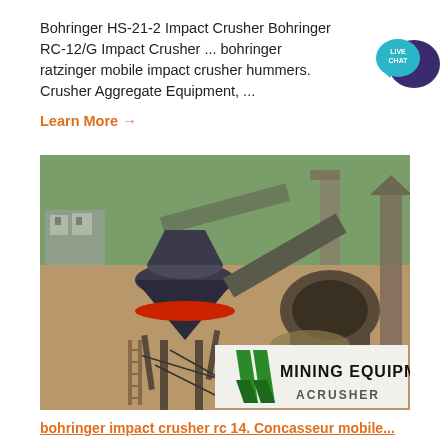Bohringer HS-21-2 Impact Crusher Bohringer RC-12/G Impact Crusher ... bohringer ratzinger mobile impact crusher hummers. Crusher Aggregate Equipment, ...
Learn More →
[Figure (illustration): Live Chat speech bubble icon in teal/dark blue]
[Figure (photo): Aerial view of a mining crushing equipment installation site with a large cone crusher, conveyor belts, and a Mining Equipment ACRUSHER logo watermark in the lower right corner.]
bohringer impact crusher rc 14. Concasseur mobile...